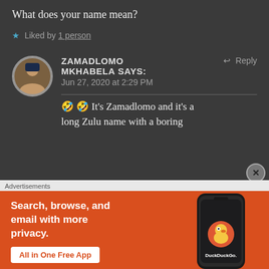Thank you, Zamadlomo! 🙃😊
What does your name mean?
★ Liked by 1 person
ZAMADLOMO MKHABELA says: Jun 27, 2020 at 2:29 PM
🤣 🤣 It's Zamadlomo and it's a long Zulu name with a boring
Advertisements
[Figure (screenshot): DuckDuckGo advertisement banner: orange background with text 'Search, browse, and email with more privacy.' and button 'All in One Free App', alongside an image of a smartphone with DuckDuckGo app]